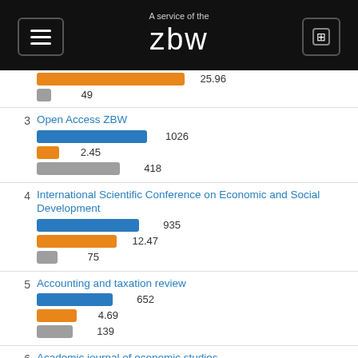A service of the zbw
[Figure (bar-chart): Journal rankings (downloads, citations, h-index)]